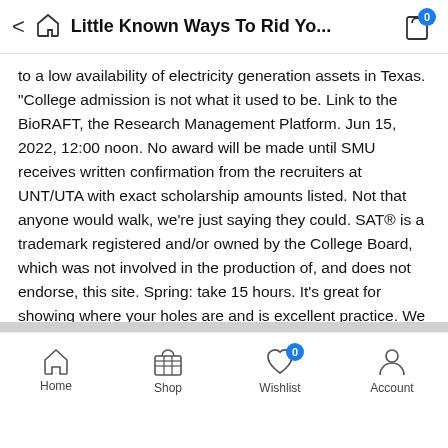Little Known Ways To Rid Yo...
to a low availability of electricity generation assets in Texas. "College admission is not what it used to be. Link to the BioRAFT, the Research Management Platform. Jun 15, 2022, 12:00 noon. No award will be made until SMU receives written confirmation from the recruiters at UNT/UTA with exact scholarship amounts listed. Not that anyone would walk, we’re just saying they could. SAT® is a trademark registered and/or owned by the College Board, which was not involved in the production of, and does not endorse, this site. Spring: take 15 hours. It’s great for showing where your holes are and is excellent practice. We are excited that you are here. The services are relaxed and open but with a vibrancy and joy which we want to express in our worship to God. This website is not affiliated with or endorsed by the U.
Home  Shop  Wishlist  Account